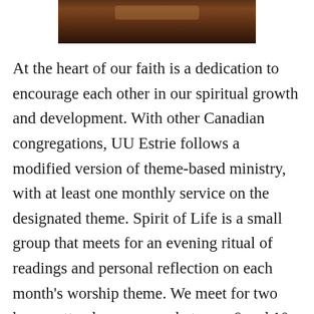[Figure (photo): A dark-toned photograph showing a dimly lit interior scene, predominantly brown and amber tones, partially cropped at the top of the page.]
At the heart of our faith is a dedication to encourage each other in our spiritual growth and development. With other Canadian congregations, UU Estrie follows a modified version of theme-based ministry, with at least one monthly service on the designated theme. Spirit of Life is a small group that meets for an evening ritual of readings and personal reflection on each month's worship theme. We meet for two hours, attendance ranges between 6 and 10, and have over several years continue to hone our skills in active listening and mutual support. Our themes this past year have included some profound explorations on